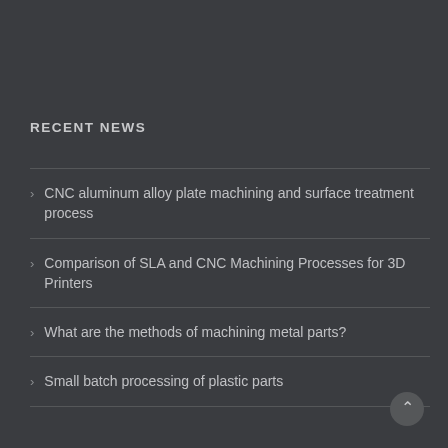RECENT NEWS
CNC aluminum alloy plate machining and surface treatment process
Comparison of SLA and CNC Machining Processes for 3D Printers
What are the methods of machining metal parts?
Small batch processing of plastic parts